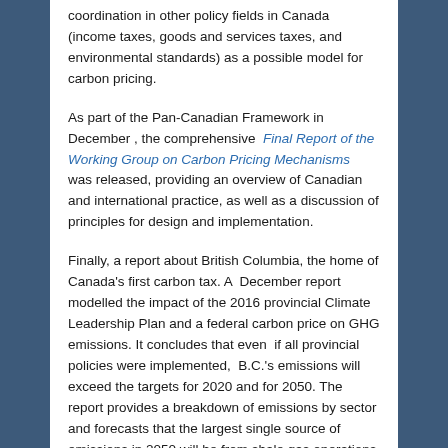coordination in other policy fields in Canada (income taxes, goods and services taxes, and environmental standards) as a possible model for carbon pricing.
As part of the Pan-Canadian Framework in December , the comprehensive Final Report of the Working Group on Carbon Pricing Mechanisms was released, providing an overview of Canadian and international practice, as well as a discussion of principles for design and implementation.
Finally, a report about British Columbia, the home of Canada's first carbon tax. A December report modelled the impact of the 2016 provincial Climate Leadership Plan and a federal carbon price on GHG emissions. It concludes that even if all provincial policies were implemented, B.C.'s emissions will exceed the targets for 2020 and for 2050. The report provides a breakdown of emissions by sector and forecasts that the largest single source of emissions in 2050 will be from shale gas operations and liquefied natural gas projects. Modelling the Impact of the Climate Leadership Plan and Federal